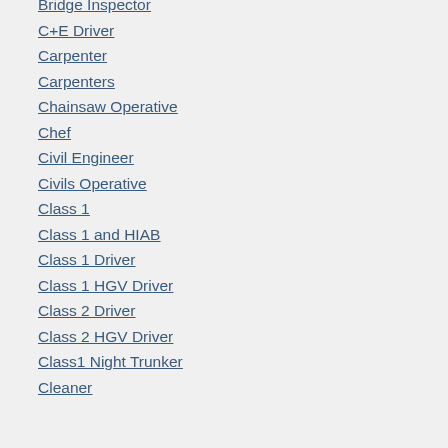Bridge Inspector
C+E Driver
Carpenter
Carpenters
Chainsaw Operative
Chef
Civil Engineer
Civils Operative
Class 1
Class 1 and HIAB
Class 1 Driver
Class 1 HGV Driver
Class 2 Driver
Class 2 HGV Driver
Class1 Night Trunker
Cleaner